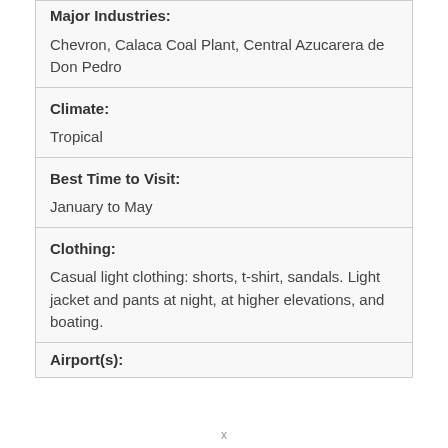| Major Industries: | Chevron, Calaca Coal Plant, Central Azucarera de Don Pedro |
| Climate: | Tropical |
| Best Time to Visit: | January to May |
| Clothing: | Casual light clothing: shorts, t-shirt, sandals. Light jacket and pants at night, at higher elevations, and boating. |
| Airport(s): |  |